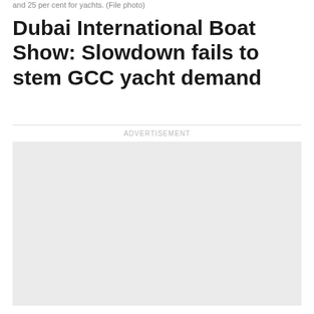and 25 per cent for yachts. (File photo)
Dubai International Boat Show: Slowdown fails to stem GCC yacht demand
ADVERTISEMENT
[Figure (other): Advertisement placeholder box (light grey rectangle)]